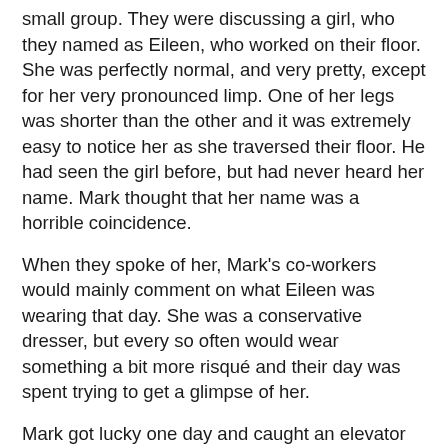small group. They were discussing a girl, who they named as Eileen, who worked on their floor. She was perfectly normal, and very pretty, except for her very pronounced limp. One of her legs was shorter than the other and it was extremely easy to notice her as she traversed their floor. He had seen the girl before, but had never heard her name. Mark thought that her name was a horrible coincidence.
When they spoke of her, Mark's co-workers would mainly comment on what Eileen was wearing that day. She was a conservative dresser, but every so often would wear something a bit more risqué and their day was spent trying to get a glimpse of her.
Mark got lucky one day and caught an elevator with Eileen. He had never spoken with her before, but Mark decided to be friendly and said, “Hello, Eileen.”
And she said, “My name is not Eileen. It’s Sandra.”
“Really?” said Mark, before he realized that he had really fucked up.